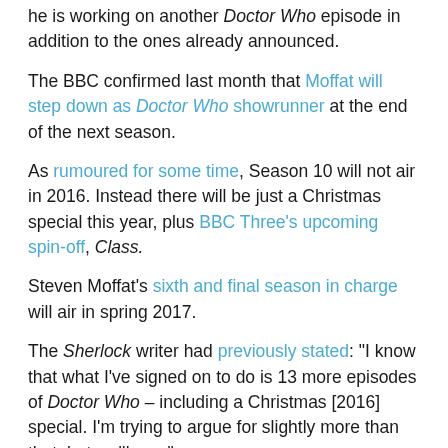he is working on another Doctor Who episode in addition to the ones already announced.
The BBC confirmed last month that Moffat will step down as Doctor Who showrunner at the end of the next season.
As rumoured for some time, Season 10 will not air in 2016. Instead there will be just a Christmas special this year, plus BBC Three's upcoming spin-off, Class.
Steven Moffat's sixth and final season in charge will air in spring 2017.
The Sherlock writer had previously stated: "I know that what I've signed on to do is 13 more episodes of Doctor Who – including a Christmas [2016] special. I'm trying to argue for slightly more than that, but we'll see."
It looks like that arguing has paid off, as Moffat told the Daily Record yesterday: "Ahead of me this year I've got